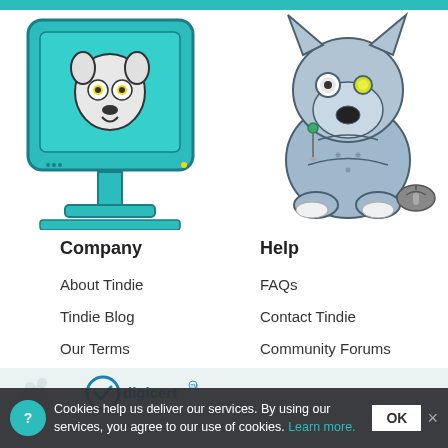[Figure (illustration): Teal horizontal bar at top of page]
[Figure (illustration): Left illustration: cartoon robot dog face on a teal iMac-style computer monitor with keyboard]
[Figure (illustration): Right illustration: cartoon robot dog sitting with a pin and a computer mouse]
Company
About Tindie
Tindie Blog
Our Terms
Help
FAQs
Contact Tindie
Community Forums
[Figure (logo): DigiCert logo with checkmark and paw print watermark on light blue footer area]
Cookies help us deliver our services. By using our services, you agree to our use of cookies. Learn more.